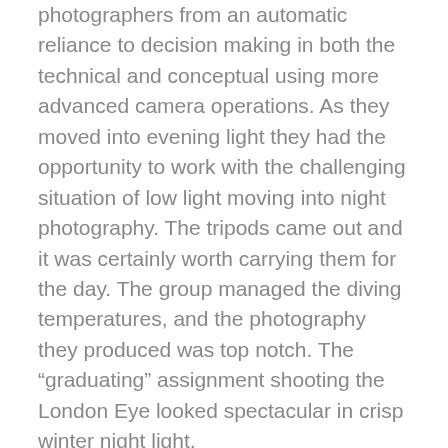photographers from an automatic reliance to decision making in both the technical and conceptual using more advanced camera operations. As they moved into evening light they had the opportunity to work with the challenging situation of low light moving into night photography. The tripods came out and it was certainly worth carrying them for the day. The group managed the diving temperatures, and the photography they produced was top notch. The “graduating” assignment shooting the London Eye looked spectacular in crisp winter night light.
Having had a day of photographing skateboarders, speeding buses and taxis, an acre of books for sale, boat traffic on the Thames, pub life and night life along the riverside, glowing indigo skies and a gorgeous urban sunset the group made their way